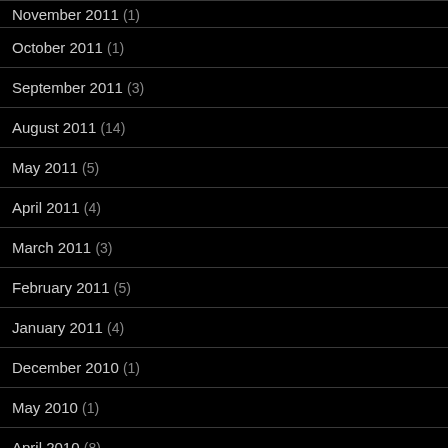November 2011 (1)
October 2011 (1)
September 2011 (3)
August 2011 (14)
May 2011 (5)
April 2011 (4)
March 2011 (3)
February 2011 (5)
January 2011 (4)
December 2010 (1)
May 2010 (1)
April 2010 (8)
March 2010 (7)